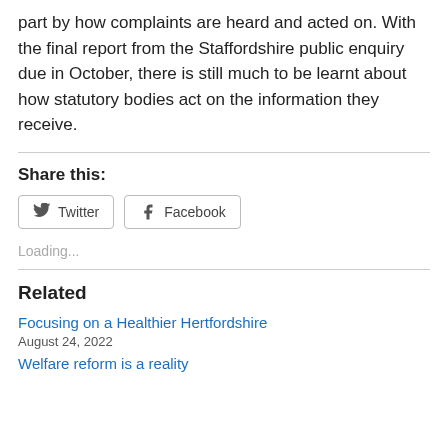part by how complaints are heard and acted on. With the final report from the Staffordshire public enquiry due in October, there is still much to be learnt about how statutory bodies act on the information they receive.
Share this:
[Figure (other): Twitter and Facebook share buttons]
Loading...
Related
Focusing on a Healthier Hertfordshire
August 24, 2022
Welfare reform is a reality